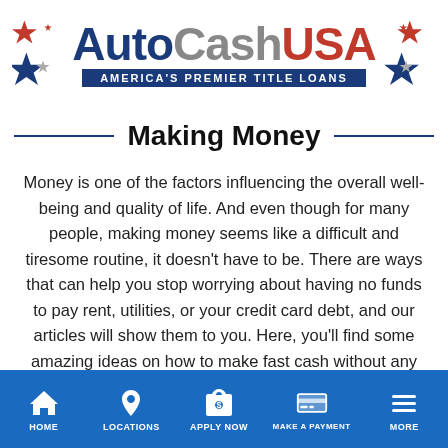[Figure (logo): AutoCashUSA logo with stars decoration and tagline AMERICA'S PREMIER TITLE LOANS on blue banner]
Making Money
Money is one of the factors influencing the overall well-being and quality of life. And even though for many people, making money seems like a difficult and tiresome routine, it doesn't have to be. There are ways that can help you stop worrying about having no funds to pay rent, utilities, or your credit card debt, and our articles will show them to you. Here, you'll find some amazing ideas on how to make fast cash without any degrees or diplomas as well as useful advice on how to make money
HOME  LOCATIONS  APPLY NOW  MAKE A PAYMENT  MORE